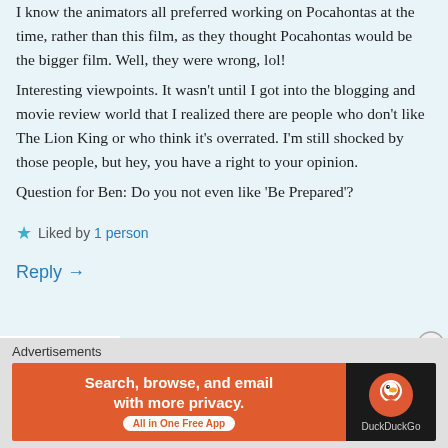I know the animators all preferred working on Pocahontas at the time, rather than this film, as they thought Pocahontas would be the bigger film. Well, they were wrong, lol! Interesting viewpoints. It wasn't until I got into the blogging and movie review world that I realized there are people who don't like The Lion King or who think it's overrated. I'm still shocked by those people, but hey, you have a right to your opinion. Question for Ben: Do you not even like 'Be Prepared'?
Liked by 1 person
Reply →
Advertisements
[Figure (infographic): DuckDuckGo advertisement banner: orange left section with text 'Search, browse, and email with more privacy. All in One Free App' and dark right section with DuckDuckGo logo and name.]